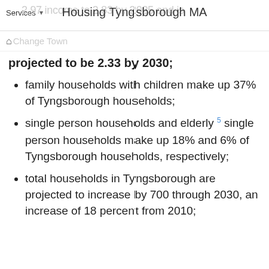Services | Housing Tyngsborough MA
Change Town
projected to be 2.33 by 2030;
family households with children make up 37% of Tyngsborough households;
single person households and elderly 5 single person households make up 18% and 6% of Tyngsborough households, respectively;
total households in Tyngsborough are projected to increase by 700 through 2030, an increase of 18 percent from 2010;